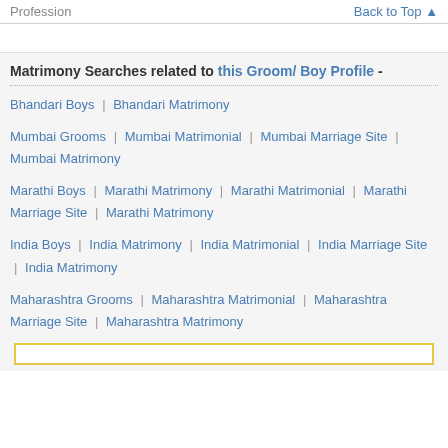Profession  |  Back to Top
Matrimony Searches related to this Groom/ Boy Profile -
Bhandari Boys  |  Bhandari Matrimony
Mumbai Grooms  |  Mumbai Matrimonial  |  Mumbai Marriage Site  |  Mumbai Matrimony
Marathi Boys  |  Marathi Matrimony  |  Marathi Matrimonial  |  Marathi Marriage Site  |  Marathi Matrimony
India Boys  |  India Matrimony  |  India Matrimonial  |  India Marriage Site  |  India Matrimony
Maharashtra Grooms  |  Maharashtra Matrimonial  |  Maharashtra Marriage Site  |  Maharashtra Matrimony